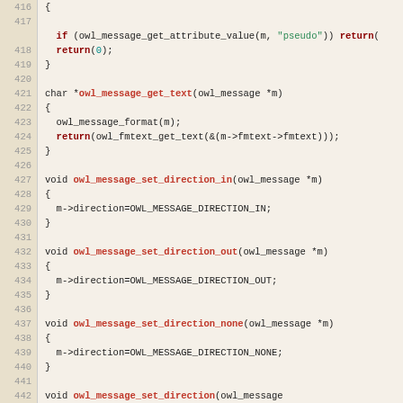[Figure (screenshot): Source code listing lines 416-445 showing C functions: owl_message_get_text, owl_message_set_direction_in, owl_message_set_direction_out, owl_message_set_direction_none, owl_message_set_direction]